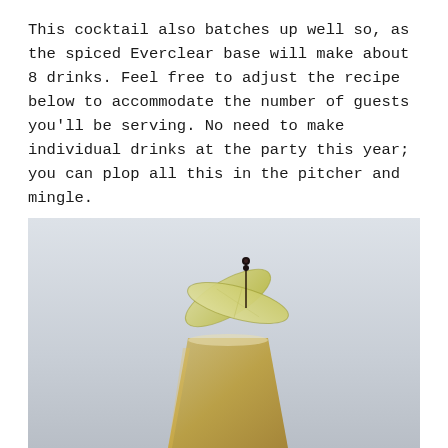This cocktail also batches up well so, as the spiced Everclear base will make about 8 drinks. Feel free to adjust the recipe below to accommodate the number of guests you'll be serving. No need to make individual drinks at the party this year; you can plop all this in the pitcher and mingle.
[Figure (photo): A close-up photo of a cocktail in a glass with a golden/amber liquid, topped with two large pear or apple slices fanned out as garnish, pierced by a cocktail pick with a small black bead. The background is a light grey gradient.]